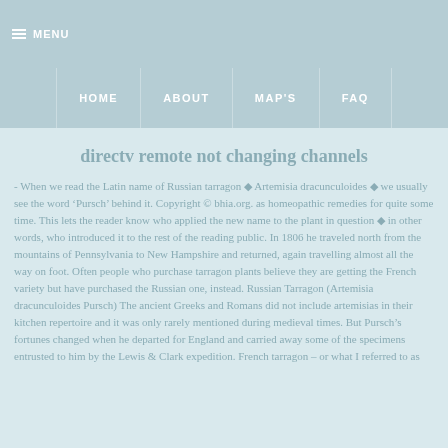MENU
HOME   ABOUT   MAP'S   FAQ
directv remote not changing channels
- When we read the Latin name of Russian tarragon ◆ Artemisia dracunculoides ◆ we usually see the word ‘Pursch’ behind it. Copyright © bhia.org. as homeopathic remedies for quite some time. This lets the reader know who applied the new name to the plant in question ◆ in other words, who introduced it to the rest of the reading public. In 1806 he traveled north from the mountains of Pennsylvania to New Hampshire and returned, again travelling almost all the way on foot. Often people who purchase tarragon plants believe they are getting the French variety but have purchased the Russian one, instead. Russian Tarragon (Artemisia dracunculoides Pursch) The ancient Greeks and Romans did not include artemisias in their kitchen repertoire and it was only rarely mentioned during medieval times. But Pursch’s fortunes changed when he departed for England and carried away some of the specimens entrusted to him by the Lewis & Clark expedition. French tarragon – or what I referred to as